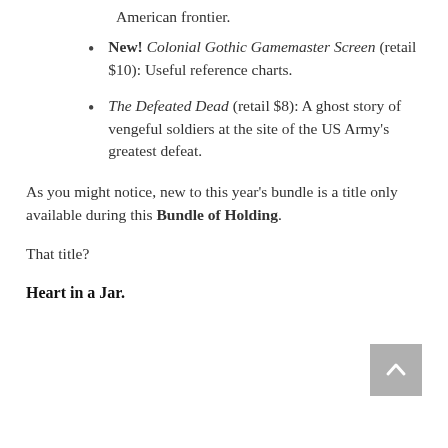American frontier.
New! Colonial Gothic Gamemaster Screen (retail $10): Useful reference charts.
The Defeated Dead (retail $8): A ghost story of vengeful soldiers at the site of the US Army's greatest defeat.
As you might notice, new to this year's bundle is a title only available during this Bundle of Holding.
That title?
Heart in a Jar.